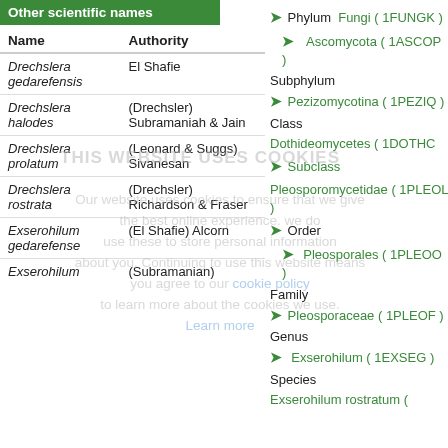Other scientific names
| Name | Authority |
| --- | --- |
| Drechslera gedarefensis | El Shafie |
| Drechslera halodes | (Drechsler) Subramaniah & Jain |
| Drechslera prolatum | (Leonard & Suggs) Sivanesan |
| Drechslera rostrata | (Drechsler) Richardson & Fraser |
| Exserohilum gedarefense | (El Shafie) Alcorn |
| Exserohilum | (Subramanian) |
▶ Phylum Fungi ( 1FUNGK )
▶ Ascomycota ( 1ASCOP )
Subphylum
▶ Pezizomycotina ( 1PEZIQ )
Class
Dothideomycetes ( 1DOTHC
▶ Subclass
Pleosporomycetidae ( 1PLEOL )
▶ Order
▶ Pleosporales ( 1PLEOO )
Family
▶ Pleosporaceae ( 1PLEOF )
Genus
▶ Exserohilum ( 1EXSEG )
Species
Exserohilum rostratum (